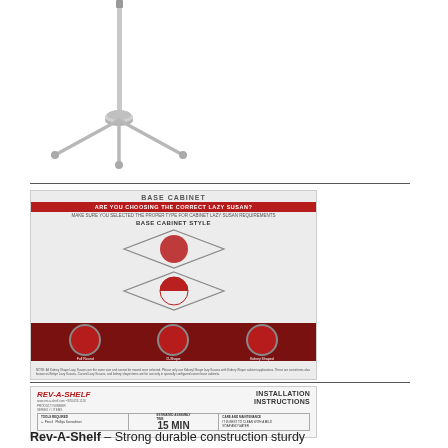[Figure (photo): Lazy Susan cabinet hardware - a metal pole/shaft with a circular mounting bracket at the bottom and three extending arms, photographed against white background]
[Figure (infographic): Base Cabinet selection guide - 'ARE YOU CHOOSING THE CORRECT LAZY SUSAN?' infographic showing base cabinet styles with diamond-shaped cabinet outlines containing red circular lazy susans, and three red circles at bottom showing size options. Text headers in red banner.]
[Figure (engineering-diagram): Rev-A-Shelf installation instructions document showing INSTALLATION INSTRUCTIONS header with 15 MIN installation time, tool requirements box, numbered steps on left side, and installation diagram on right side]
Rev-A-Shelf – Strong durable construction sturdy